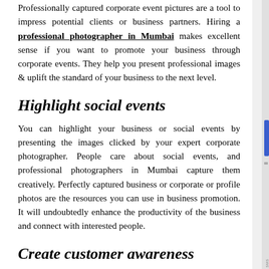Professionally captured corporate event pictures are a tool to impress potential clients or business partners. Hiring a professional photographer in Mumbai makes excellent sense if you want to promote your business through corporate events. They help you present professional images & uplift the standard of your business to the next level.
Highlight social events
You can highlight your business or social events by presenting the images clicked by your expert corporate photographer. People care about social events, and professional photographers in Mumbai capture them creatively. Perfectly captured business or corporate or profile photos are the resources you can use in business promotion. It will undoubtedly enhance the productivity of the business and connect with interested people.
Create customer awareness
Customer awareness seems to be one of the essential